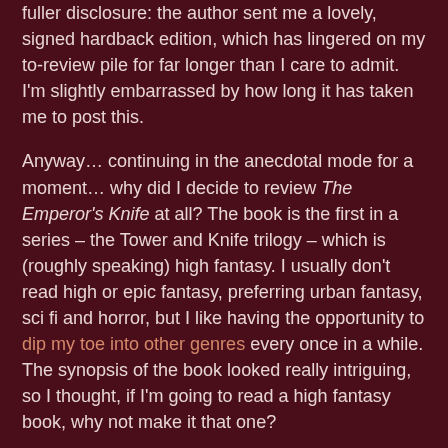fuller disclosure: the author sent me a lovely, signed hardback edition, which has lingered on my to-review pile for far longer than I care to admit. I'm slightly embarrassed by how long it has taken me to post this.
Anyway… continuing in the anecdotal mode for a moment… why did I decide to review The Emperor's Knife at all? The book is the first in a series – the Tower and Knife trilogy – which is (roughly speaking) high fantasy. I usually don't read high or epic fantasy, preferring urban fantasy, sci fi and horror, but I like having the opportunity to dip my toe into other genres every once in a while. The synopsis of the book looked really intriguing, so I thought, if I'm going to read a high fantasy book, why not make it that one?
There was another big attraction with The Emperor's Knife, and one that is a little unusual. I was attracted by the publisher. Williams's novel is published by Jo Fletcher Books, an imprint of Quercus. I must admit, I haven't yet found a book published by Quercus that I don't like, and three of my absolute favourite authors of recent years (Cat Clarke, Tom Fletcher and Peter May are all published by